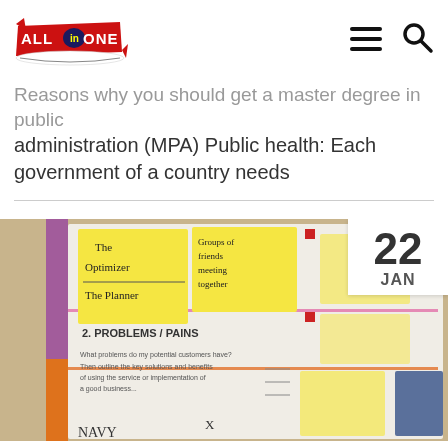[Figure (logo): All in One logo with red banner and yellow text]
Reasons why you should get a master degree in public administration (MPA) Public health: Each government of a country needs
[Figure (photo): Bulletin board with sticky notes, handwritten text including 'The Optimizer', 'The Planner', '2. PROBLEMS / PAINS', and 'NAVY', with a date badge showing 22 JAN]